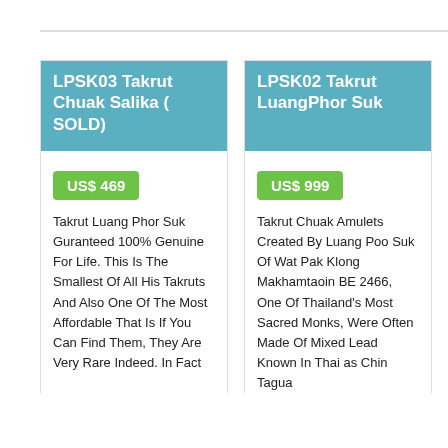LPSK03 Takrut Chuak Salika ( SOLD)
US$ 469
Takrut Luang Phor Suk Guranteed 100% Genuine For Life. This Is The Smallest Of All His Takruts And Also One Of The Most Affordable That Is If You Can Find Them, They Are Very Rare Indeed. In Fact
LPSK02 Takrut LuangPhor Suk
US$ 999
Takrut Chuak Amulets Created By Luang Poo Suk Of Wat Pak Klong Makhamtaoin BE 2466, One Of Thailand's Most Sacred Monks, Were Often Made Of Mixed Lead Known In Thai as Chin Tagua
LPSK01 Takrut Chuak Sa...
US$ 369
Takrut Chuak S... 2466 - Luang P... Takrut Luang P... Guranteed 100... For Life. This I... Smallest Of Al... And Also One ... Affordable Tha... Can Find Ther...